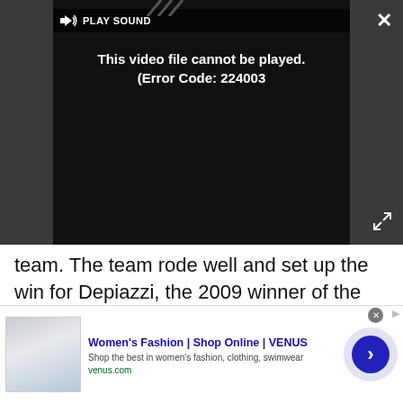[Figure (screenshot): Video player with dark background showing error message 'This video file cannot be played. (Error Code: 224003)' and a play sound button at top. Close (X) button top right, expand button bottom right.]
team. The team rode well and set up the win for Depiazzi, the 2009 winner of the support series.
[Figure (other): Advertisement placeholder block with light gray background labeled 'Advertisement']
[Figure (screenshot): Bottom ad banner for Women's Fashion | Shop Online | VENUS. Shows website screenshot thumbnail, title in blue bold text, description 'Shop the best in women's fashion, clothing, swimwear', URL venus.com in green, and a dark blue circular arrow button.]